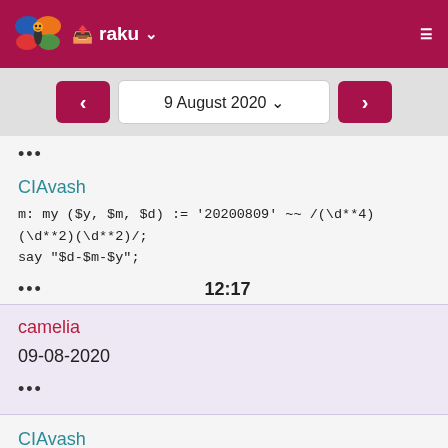raku
9 August 2020
...
CIAvash
m: my ($y, $m, $d) := '20200809' ~~ /(\d**4)(\d**2)(\d**2)/;
say "$d-$m-$y";
... 12:17
camelia
09-08-2020
...
CIAvash